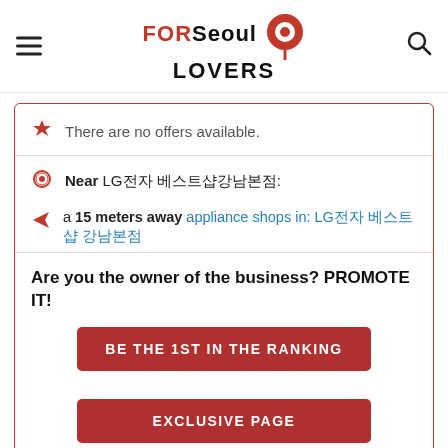FOR Seoul LOVERS
There are no offers available.
Near LG전자 베스트샵강남본점:
a 15 meters away appliance shops in: LG전자 베스트샵 강남본점
Are you the owner of the business? PROMOTE IT!
BE THE 1ST IN THE RANKING
EXCLUSIVE PAGE
3. LG Electronics Bestshop